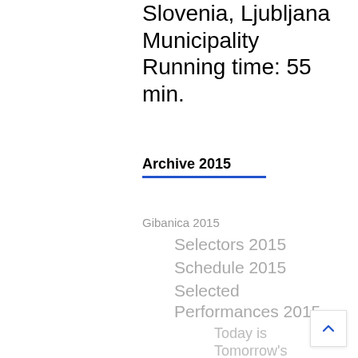Slovenia, Ljubljana Municipality
Running time: 55 min.
Archive 2015
Gibanica 2015
Selectors 2015
Schedule 2015
Selected Performances 2015
Today is Tomorrow's
Time Body Trio
This is not a hit
The Hunting Season